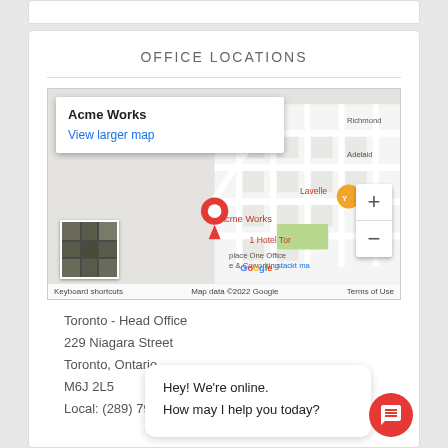OFFICE LOCATIONS
[Figure (map): Google Map showing Acme Works location in Toronto. Map displays street grid with red location pin labeled 'Acme Works', surrounding labels including Richmond, Adelaide, Lavelle, 1 Hotel Tor, Place One Office & Coworking, stackt ma. Info box shows 'Acme Works' and 'View larger map' link. Zoom controls (+/-) on right. Satellite thumbnail in bottom-left. Bottom bar: 'Keyboard shortcuts | Map data ©2022 Google | Terms of Use']
Toronto - Head Office
229 Niagara Street
Toronto, Ontario
M6J 2L5
Local: (289) 797-0322
Hey! We're online.
How may I help you today?